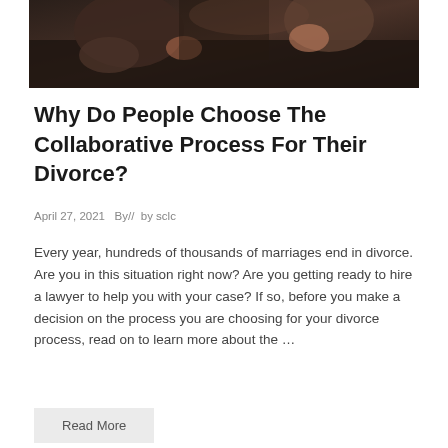[Figure (photo): Dark photo of two people sitting on a couch, appearing distressed or in conflict, showing hands and arms]
Why Do People Choose The Collaborative Process For Their Divorce?
April 27, 2021   By//  by sclc
Every year, hundreds of thousands of marriages end in divorce. Are you in this situation right now? Are you getting ready to hire a lawyer to help you with your case? If so, before you make a decision on the process you are choosing for your divorce process, read on to learn more about the …
Read More